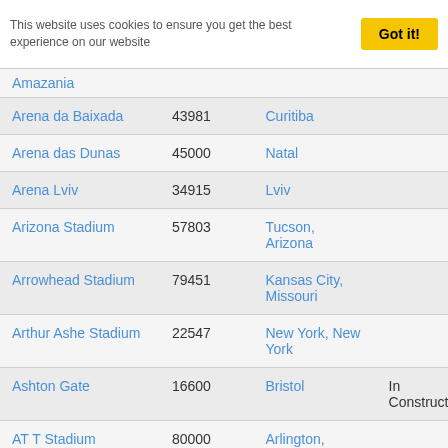This website uses cookies to ensure you get the best experience on our website
| Name | Capacity | Location | Status |
| --- | --- | --- | --- |
| Amazania |  |  |  |
| Arena da Baixada | 43981 | Curitiba |  |
| Arena das Dunas | 45000 | Natal |  |
| Arena Lviv | 34915 | Lviv |  |
| Arizona Stadium | 57803 | Tucson, Arizona |  |
| Arrowhead Stadium | 79451 | Kansas City, Missouri |  |
| Arthur Ashe Stadium | 22547 | New York, New York |  |
| Ashton Gate | 16600 | Bristol | In Construction |
| AT T Stadium | 80000 | Arlington, Texas |  |